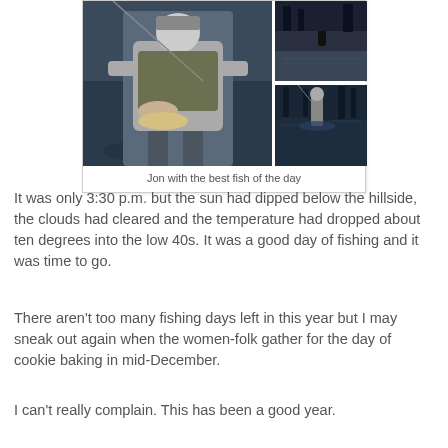[Figure (photo): Photo collage of a fisherman wading in a river catching a fish, shown in three panels: large left panel showing man holding fish, top right panel showing silhouette of angler, bottom right panel showing angler in water.]
Jon with the best fish of the day
It was only 3:30 p.m. but the sun had dipped below the hillside, the clouds had cleared and the temperature had dropped about ten degrees into the low 40s. It was a good day of fishing and it was time to go.
There aren't too many fishing days left in this year but I may sneak out again when the women-folk gather for the day of cookie baking in mid-December.
I can't really complain. This has been a good year.